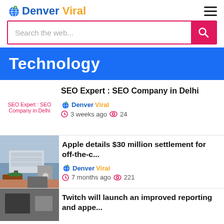Denver Viral
Search the web...
Technology
SEO Expert : SEO Company in Delhi
Denver Viral · 3 weeks ago · 24
Apple details $30 million settlement for off-the-c...
Denver Viral · 7 months ago · 221
Twitch will launch an improved reporting and appe...